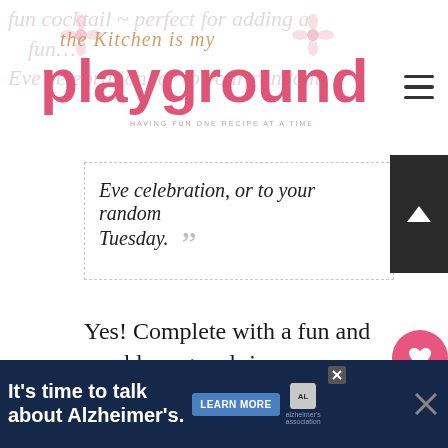the Kitchen is my playground — HAVING FUN ONE RECIPE AT A TIME
fun cocktail ~ perfect for adding a ... Eve celebration, or to your random Tuesday. "
Yes! Complete with a fun and sparkly sugared rim.
It's a truly different way to enjoy your champagne.
{Well, a truly different way to enjoy your
It's time to talk about Alzheimer's. LEARN MORE